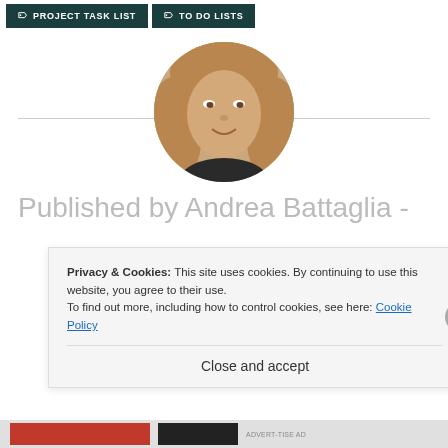PROJECT TASK LIST
TO DO LISTS
[Figure (photo): Circular profile photo of Andrea Battaglia, a woman with long blonde wavy hair, smiling]
Published by Andrea Battaglia -
Privacy & Cookies: This site uses cookies. By continuing to use this website, you agree to their use. To find out more, including how to control cookies, see here: Cookie Policy
Close and accept